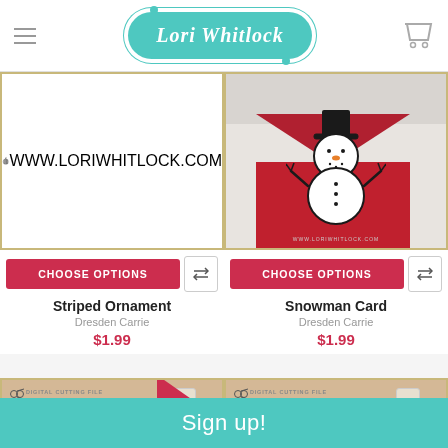Lori Whitlock
[Figure (illustration): Black and white striped Christmas ornament SVG cut file on white background with gold border]
[Figure (photo): Snowman card craft project with red envelope pocket and paper snowman, on white background with gold border]
CHOOSE OPTIONS
CHOOSE OPTIONS
Striped Ornament
Dresden Carrie
$1.99
Snowman Card
Dresden Carrie
$1.99
[Figure (photo): Digital cutting file product packaging card, partially visible with on-sale ribbon]
[Figure (photo): Digital cutting file snowflake product packaging card with Dresden Carrie branding]
Sign up!